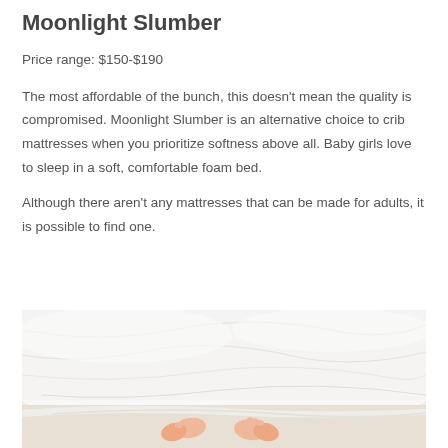Moonlight Slumber
Price range: $150-$190
The most affordable of the bunch, this doesn't mean the quality is compromised. Moonlight Slumber is an alternative choice to crib mattresses when you prioritize softness above all. Baby girls love to sleep in a soft, comfortable foam bed.
Although there aren't any mattresses that can be made for adults, it is possible to find one.
[Figure (photo): Photo of a baby sleeping under white blanket/duvet with baby feet visible at the bottom]